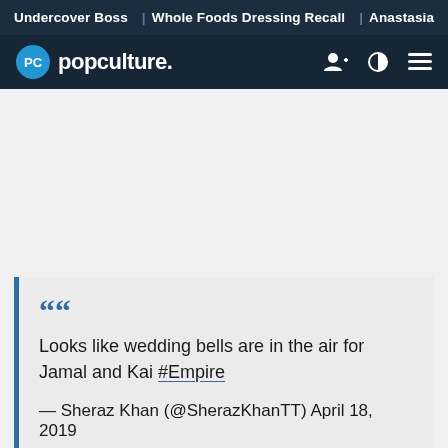Undercover Boss | Whole Foods Dressing Recall | Anastasia
popculture.
Looks like wedding bells are in the air for Jamal and Kai #Empire — Sheraz Khan (@SherazKhanTT) April 18, 2019